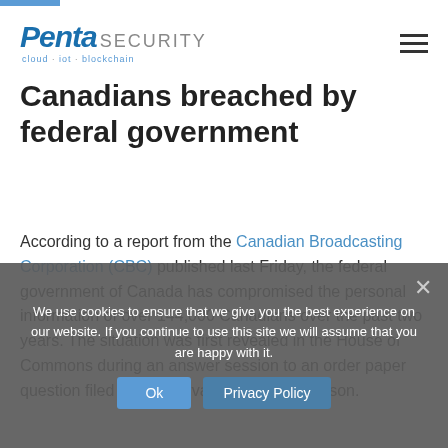[Figure (logo): Penta Security logo with tagline 'cloud · iot · blockchain']
Canadians breached by federal government
According to a report from the Canadian Broadcasting Corporation (CBC) published last Friday, the federal government of Canada has compromised the personal information of over 144,000 Canadians over the past two years. The situation was first revealed in the House of Commons during an answer session to an order paper question filed by Conservative MP Dean Allison.
The 800-page answer contained records of breaches from 10 agencies during the past two years. The Canada Revenue Agency (CRA) topped the list with a record of 3,020 breaches affecting 59,065 individuals, followed by
We use cookies to ensure that we give you the best experience on our website. If you continue to use this site we will assume that you are happy with it.